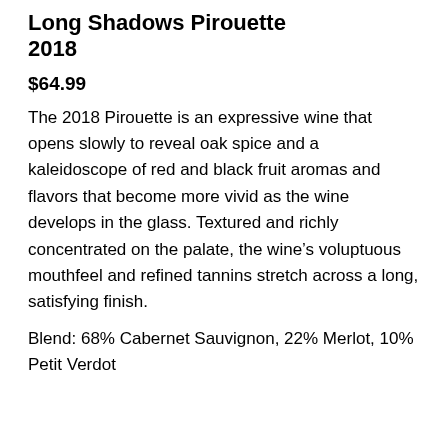Long Shadows Pirouette 2018
$64.99
The 2018 Pirouette is an expressive wine that opens slowly to reveal oak spice and a kaleidoscope of red and black fruit aromas and flavors that become more vivid as the wine develops in the glass. Textured and richly concentrated on the palate, the wine’s voluptuous mouthfeel and refined tannins stretch across a long, satisfying finish.
Blend: 68% Cabernet Sauvignon, 22% Merlot, 10% Petit Verdot